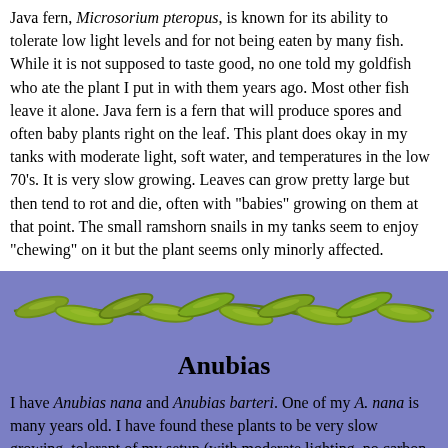Java fern, Microsorium pteropus, is known for its ability to tolerate low light levels and for not being eaten by many fish. While it is not supposed to taste good, no one told my goldfish who ate the plant I put in with them years ago. Most other fish leave it alone. Java fern is a fern that will produce spores and often baby plants right on the leaf. This plant does okay in my tanks with moderate light, soft water, and temperatures in the low 70's. It is very slow growing. Leaves can grow pretty large but then tend to rot and die, often with "babies" growing on them at that point. The small ramshorn snails in my tanks seem to enjoy "chewing" on it but the plant seems only minorly affected.
[Figure (illustration): A horizontal decorative image of aquatic plant leaves (green, wavy, elongated) arranged in a chain-like pattern against a purple background.]
Anubias
I have Anubias nana and Anubias barteri. One of my A. nana is many years old. I have found these plants to be very slow growing, tolerant of my setup (with moderate lighting, no carbon dioxide injection, soft water, temperatures in the low 70's degrees F), and virtually indestructible. At times when all other plants were falling apart, the Anubias were unaffected. They are strong plants with thick leaves. The only problem I have ever had is sometimes too